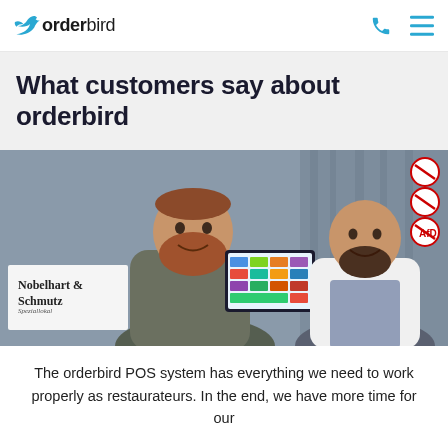orderbird
What customers say about orderbird
[Figure (photo): Two men smiling in a restaurant setting; one man with a red beard holds a tablet displaying the orderbird POS app interface. A sign reads 'Nobelhart & Schmutz Speziallokal'. Several sticker signs visible on the wall in background.]
The orderbird POS system has everything we need to work properly as restaurateurs. In the end, we have more time for our